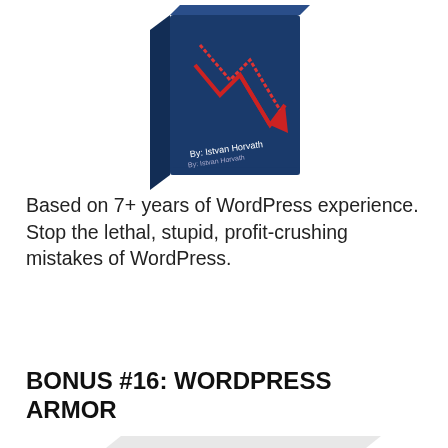[Figure (illustration): 3D book cover with dark blue background, red downward arrows/graph, titled 'WordPress Mistakes' by Istvan Horvath, shown at an angle with reflection below]
Based on 7+ years of WordPress experience. Stop the lethal, stupid, profit-crushing mistakes of WordPress.
BONUS #16: WORDPRESS ARMOR
[Figure (illustration): 3D book or product image with silver/white exterior and a dark blue circular magnifying glass or shield icon on the front cover]